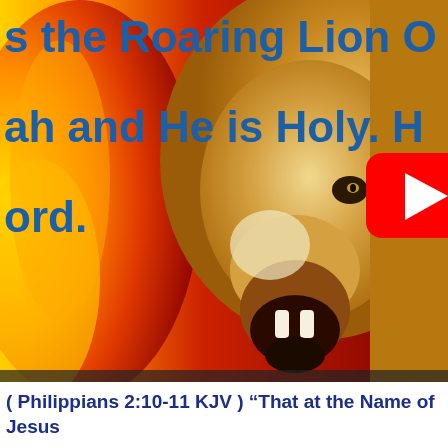[Figure (screenshot): YouTube video thumbnail showing a roaring lion against a fiery red and yellow background. Blue bold text overlaid on the left reads partial lines: 's the Roaring Lion O', 'ah and He is Holy. H', 'ord.' A YouTube play button (red rectangle with white triangle) is centered on the image.]
( Philippians 2:10-11 KJV ) “That at the Name of Jesus